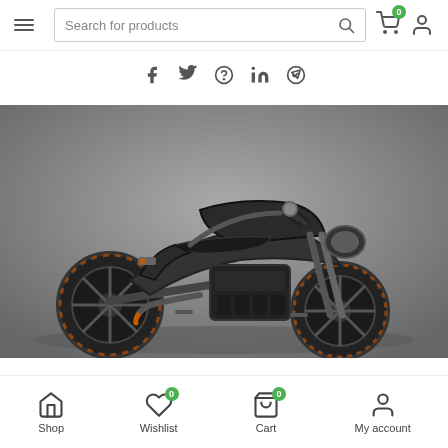[Figure (screenshot): E-commerce website screenshot showing header with hamburger menu, search bar, cart icon with badge '0', and user icon]
[Figure (other): Social media share icons row: Facebook, Twitter, Pinterest, LinkedIn, Telegram]
[Figure (photo): Dark/black motorcycle (sport naked bike) on grey background, blurred/dark image]
[Figure (screenshot): Bottom navigation bar with Shop, Wishlist (badge 0), Cart (badge 0), and My account icons]